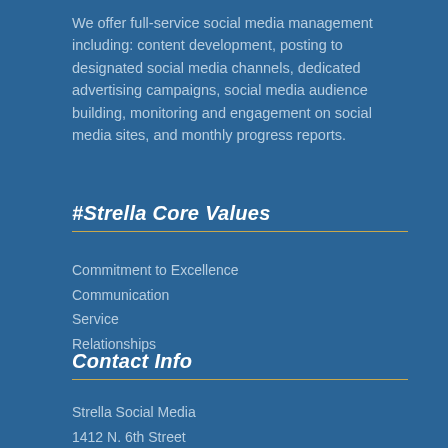We offer full-service social media management including: content development, posting to designated social media channels, dedicated advertising campaigns, social media audience building, monitoring and engagement on social media sites, and monthly progress reports.
#Strella Core Values
Commitment to Excellence
Communication
Service
Relationships
Contact Info
Strella Social Media
1412 N. 6th Street
Harrisburg, PA 17102